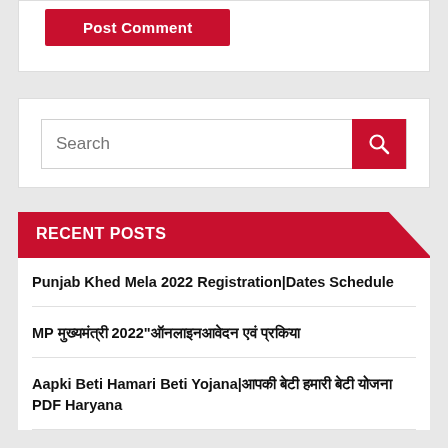[Figure (screenshot): Post Comment button - red rounded rectangle with white bold text]
[Figure (screenshot): Search bar with text input and red search icon button]
RECENT POSTS
Punjab Khed Mela 2022 Registration|Dates Schedule
MP मुख्यमंत्री 2022"ऑनलाइनआवेदन एवं प्रकिया
Aapki Beti Hamari Beti Yojana|आपकी बेटी हमारी बेटी योजना PDF Haryana